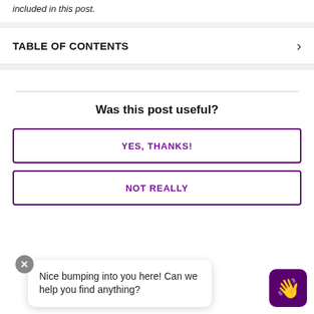included in this post.
TABLE OF CONTENTS
Was this post useful?
YES, THANKS!
NOT REALLY
Nice bumping into you here! Can we help you find anything?